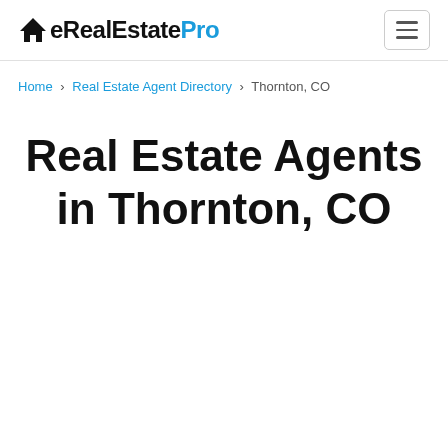eRealEstatePro
Home > Real Estate Agent Directory > Thornton, CO
Real Estate Agents in Thornton, CO